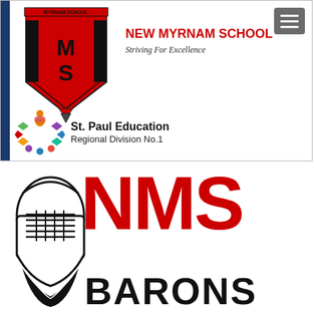[Figure (screenshot): New Myrnam School website header screenshot showing school crest logo with MS letters, hamburger menu button, school name 'NEW MYRNAM SCHOOL', tagline 'Striving For Excellence', and St. Paul Education Regional Division No.1 logo]
[Figure (logo): NMS Barons logo: knight helmet in black and white on left, large red bold 'NMS' text, and 'BARONS' in large black bold letters below]